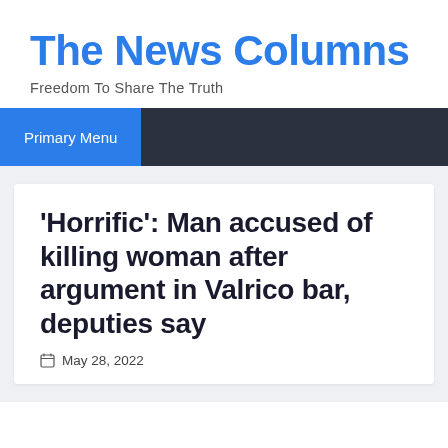The News Columns
Freedom To Share The Truth
Primary Menu
‘Horrific’: Man accused of killing woman after argument in Valrico bar, deputies say
May 28, 2022